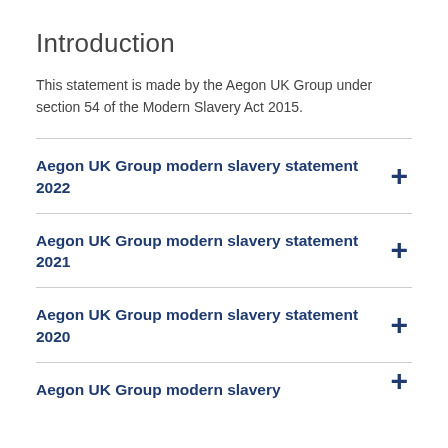Introduction
This statement is made by the Aegon UK Group under section 54 of the Modern Slavery Act 2015.
Aegon UK Group modern slavery statement 2022
Aegon UK Group modern slavery statement 2021
Aegon UK Group modern slavery statement 2020
Aegon UK Group modern slavery